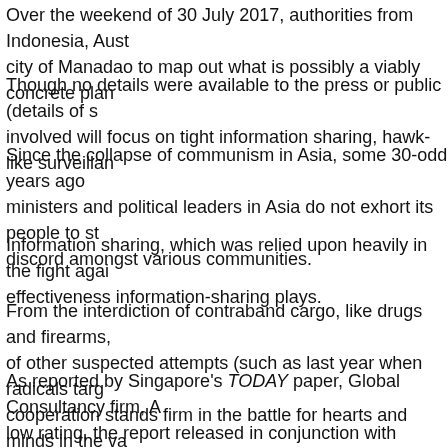Over the weekend of 30 July 2017, authorities from Indonesia, Aust… city of Manadao to map out what is possibly a viably concrete plan…
Though no details were available to the press or public (details of s… involved will focus on tight information sharing, hawk-like surveilla…
Since the collapse of communism in Asia, some 30-odd years ago ministers and political leaders in Asia do not exhort its people to st… discord amongst various communities.
Information sharing, which was relied upon heavily in the fight agai… effectiveness information-sharing plays.
From the interdiction of contraband cargo, like drugs and firearms,… of other suspected attempts (such as last year when radicals targ… cooperation stands firm in the battle for hearts and minds in the va…
As reported by Singapore's TODAY paper, Global Consultancy firm, A… low rating, the report released in conjunction with Roubini Global Ec… risk of terrorism and sabotage' especially when considering a serie… of radicalized police personnel and a school teacher.
"This is a reflection of the increased terrorist activity in neighbourin… Aon Risk Solutions is quoted as saying. But the Philippines and Ind…